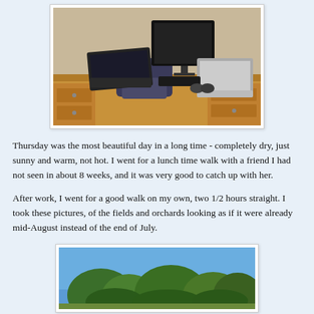[Figure (photo): A wooden desk with two laptops, a large monitor, keyboard, mouse and a chair in a home office setting.]
Thursday was the most beautiful day in a long time - completely dry, just sunny and warm, not hot. I went for a lunch time walk with a friend I had not seen in about 8 weeks, and it was very good to catch up with her.
After work, I went for a good walk on my own, two 1/2 hours straight. I took these pictures, of the fields and orchards looking as if it were already mid-August instead of the end of July.
[Figure (photo): Outdoor photo showing trees with green foliage against a blue sky, fields and orchards in summer.]